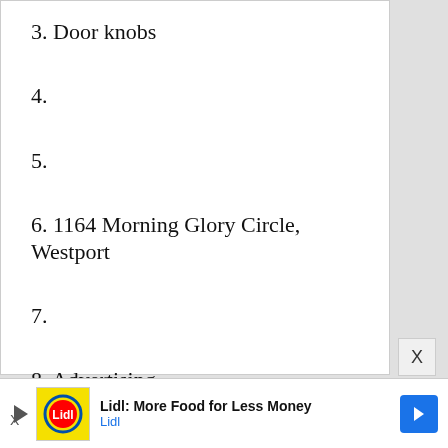3. Door knobs
4.
5.
6. 1164 Morning Glory Circle, Westport
7.
8. Advertising
9.
Lidl: More Food for Less Money
Lidl